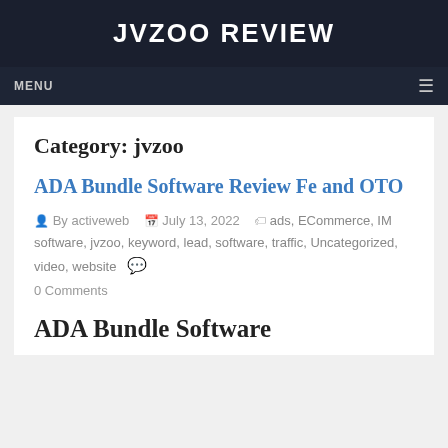JVZOO REVIEW
MENU
Category: jvzoo
ADA Bundle Software Review Fe and OTO
By activeweb   July 13, 2022   ads, ECommerce, IM software, jvzoo, keyword, lead, software, traffic, Uncategorized, video, website   0 Comments
ADA Bundle Software